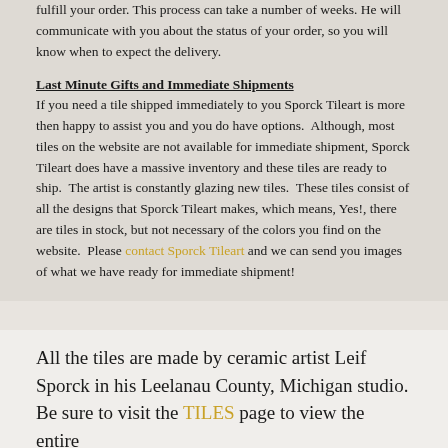fulfill your order. This process can take a number of weeks. He will communicate with you about the status of your order, so you will know when to expect the delivery.
Last Minute Gifts and Immediate Shipments
If you need a tile shipped immediately to you Sporck Tileart is more then happy to assist you and you do have options.  Although, most tiles on the website are not available for immediate shipment, Sporck Tileart does have a massive inventory and these tiles are ready to ship.  The artist is constantly glazing new tiles.  These tiles consist of all the designs that Sporck Tileart makes, which means, Yes!, there are tiles in stock, but not necessary of the colors you find on the website.  Please contact Sporck Tileart and we can send you images of what we have ready for immediate shipment!
All the tiles are made by ceramic artist Leif Sporck in his Leelanau County, Michigan studio. Be sure to visit the TILES page to view the entire